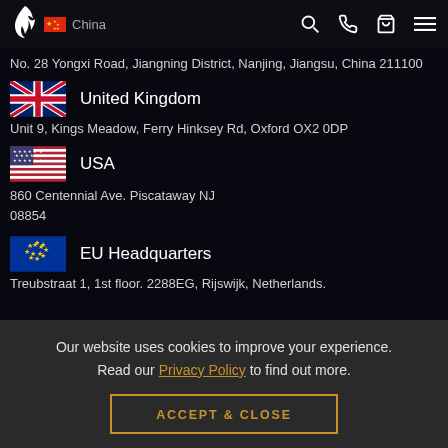China — Navigation bar with logo, search, phone, cart, menu icons
No. 28 Yongxi Road, Jiangning District, Nanjing, Jiangsu, China 211100
United Kingdom
Unit 9, Kings Meadow, Ferry Hinksey Rd, Oxford OX2 0DP
USA
860 Centennial Ave. Piscataway NJ
08854
EU Headquarters
Treubstraat 1, 1st floor. 2288EG, Rijswijk, Netherlands.
Our website uses cookies to improve your experience. Read our Privacy Policy to find out more.
ACCEPT & CLOSE